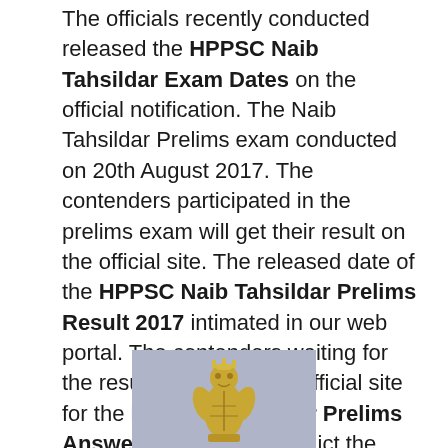The officials recently conducted released the HPPSC Naib Tahsildar Exam Dates on the official notification. The Naib Tahsildar Prelims exam conducted on 20th August 2017. The contenders participated in the prelims exam will get their result on the official site. The released date of the HPPSC Naib Tahsildar Prelims Result 2017 intimated in our web portal. The contenders waiting for the result can check the official site for the HP Naib Tahsildar Prelims Answer Key 2017 to predict the result. The contenders can follow the below article for more information.
[Figure (photo): Image of a golden emblem/badge (likely the Himachal Pradesh state emblem) on a light grayish-blue background]